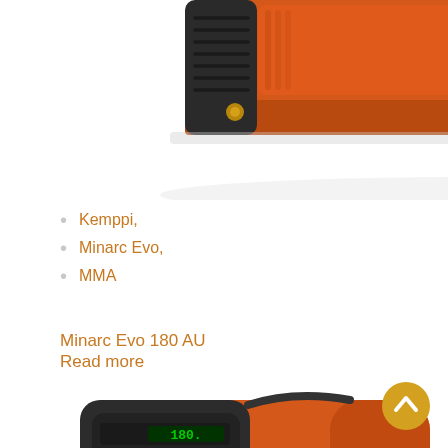[Figure (photo): Top portion of an orange Kemppi Minarc Evo welding machine, showing the front panel with ventilation grille and connectors, viewed from the side/top angle against white background.]
Kemppi,
Minarc Evo,
MMA
Minarc Evo 180 AU
Read more
[Figure (photo): Full view of an orange and black Kemppi Minarc 180 welding inverter machine, showing front panel with controls, display reading 180, KEMPPI branding on the side, and Minarc Evo 180 text at bottom right. The machine is on a white background.]